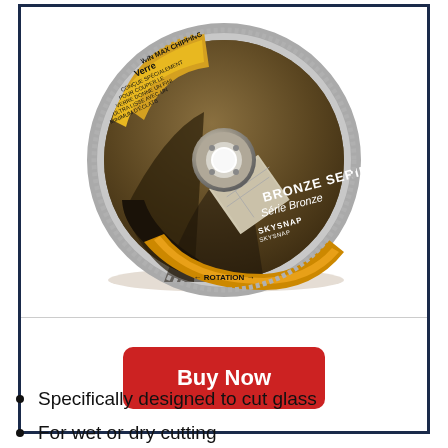[Figure (photo): Diamond cutting disc blade - Bronze Series / Série Bronze for cutting glass (Verre), showing rotation direction arrow. SKYSNAP branding. Bilingual English/French label on circular blade with diamond edge.]
Buy Now
Specifically designed to cut glass
For wet or dry cutting
4 1/2 Inch diameter